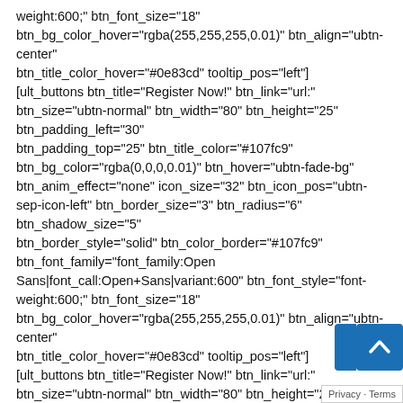weight:600;" btn_font_size="18" btn_bg_color_hover="rgba(255,255,255,0.01)" btn_align="ubtn-center" btn_title_color_hover="#0e83cd" tooltip_pos="left"] [ult_buttons btn_title="Register Now!" btn_link="url:" btn_size="ubtn-normal" btn_width="80" btn_height="25" btn_padding_left="30" btn_padding_top="25" btn_title_color="#107fc9" btn_bg_color="rgba(0,0,0,0.01)" btn_hover="ubtn-fade-bg" btn_anim_effect="none" icon_size="32" btn_icon_pos="ubtn-sep-icon-left" btn_border_size="3" btn_radius="6" btn_shadow_size="5" btn_border_style="solid" btn_color_border="#107fc9" btn_font_family="font_family:Open Sans|font_call:Open+Sans|variant:600" btn_font_style="font-weight:600;" btn_font_size="18" btn_bg_color_hover="rgba(255,255,255,0.01)" btn_align="ubtn-center" btn_title_color_hover="#0e83cd" tooltip_pos="left"] [ult_buttons btn_title="Register Now!" btn_link="url:" btn_size="ubtn-normal" btn_width="80" btn_height="25" btn_padding_left="3… btn_padding_top="25" btn_title_color="#107fc9" btn_bg_color="rgba(0,0,0,0.01)" btn_hover="ubtn-fade-bg" btn_anim_effect="none" icon_size="32" btn_icon_pos="ubtn-sep…
[Figure (screenshot): Blue scroll-to-top button with upward arrow chevron and a blue tab to its left, overlaid at bottom-right corner. Privacy - Terms text label below.]